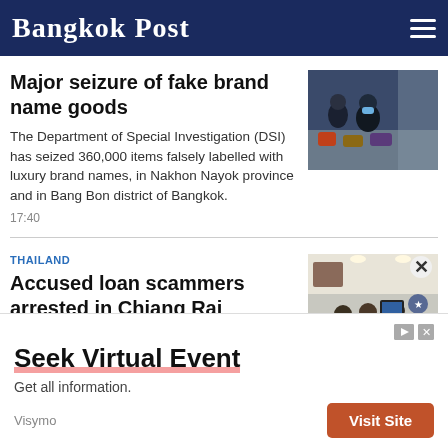Bangkok Post
Major seizure of fake brand name goods
[Figure (photo): People with bags, likely seized counterfeit goods in a warehouse or market setting]
The Department of Special Investigation (DSI) has seized 360,000 items falsely labelled with luxury brand names, in Nakhon Nayok province and in Bang Bon district of Bangkok.
17:40
THAILAND
Accused loan scammers arrested in Chiang Rai
[Figure (photo): People seated around a conference table in an office room, likely a press conference or police meeting]
CHIANG RAI: Members of gang that
[Figure (screenshot): Advertisement banner: Seek Virtual Event - Get all information. Visymo. Visit Site button.]